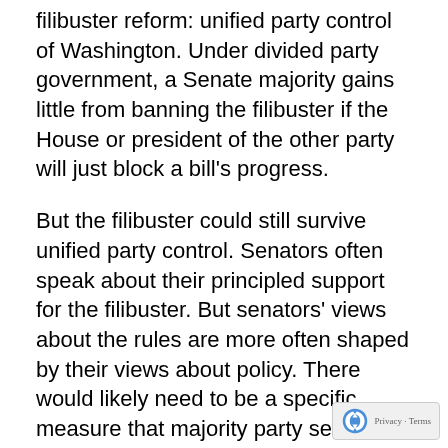filibuster reform: unified party control of Washington. Under divided party government, a Senate majority gains little from banning the filibuster if the House or president of the other party will just block a bill's progress.
But the filibuster could still survive unified party control. Senators often speak about their principled support for the filibuster. But senators' views about the rules are more often shaped by their views about policy. There would likely need to be a specific measure that majority party senators both agreed upon and cared enough about to make banning the filibuster worth it. As Republicans' experience in the first two ye...